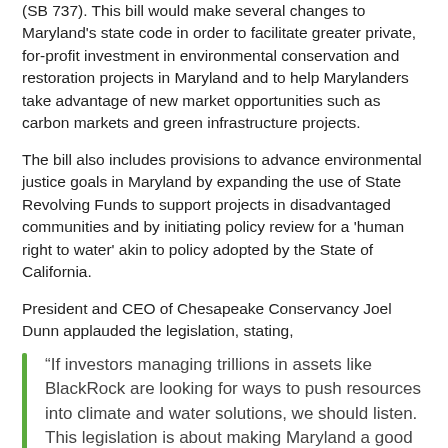(SB 737). This bill would make several changes to Maryland's state code in order to facilitate greater private, for-profit investment in environmental conservation and restoration projects in Maryland and to help Marylanders take advantage of new market opportunities such as carbon markets and green infrastructure projects.
The bill also includes provisions to advance environmental justice goals in Maryland by expanding the use of State Revolving Funds to support projects in disadvantaged communities and by initiating policy review for a 'human right to water' akin to policy adopted by the State of California.
President and CEO of Chesapeake Conservancy Joel Dunn applauded the legislation, stating,
“If investors managing trillions in assets like BlackRock are looking for ways to push resources into climate and water solutions, we should listen. This legislation is about making Maryland a good place for investment in the planet.
“I thank Senator Rosapepe for his environmental leadership in